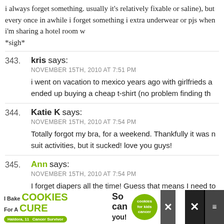i always forget something. usually it's relatively fixable or saline), but every once in awhile i forget something i extra underwear or pjs when i'm sharing a hotel room w *sigh*
343. kris says: NOVEMBER 15TH, 2010 AT 7:51 PM — i went on vacation to mexico years ago with girlfrieds a ended up buying a cheap t-shirt (no problem finding th
344. Katie K says: NOVEMBER 15TH, 2010 AT 7:54 PM — Totally forgot my bra, for a weekend. Thankfully it was not suit activities, but it sucked! love you guys!
345. Ann says: NOVEMBER 15TH, 2010 AT 7:54 PM — I forget diapers all the time! Guess that means I need to
[Figure (infographic): Advertisement banner: 'I Bake COOKIES For A CURE' with photo of girl and 'cookies for kids cancer' logo, 'So can you!' text, and close buttons.]